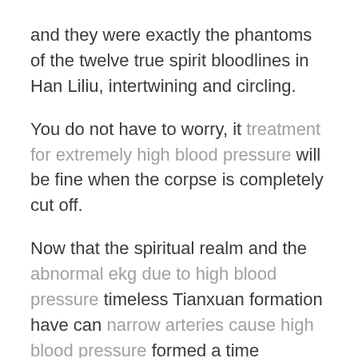and they were exactly the phantoms of the twelve true spirit bloodlines in Han Liliu, intertwining and circling.
You do not have to worry, it treatment for extremely high blood pressure will be fine when the corpse is completely cut off.
Now that the spiritual realm and the abnormal ekg due to high blood pressure timeless Tianxuan formation have can narrow arteries cause high blood pressure formed a time difference space, the situation should remain unchanged.